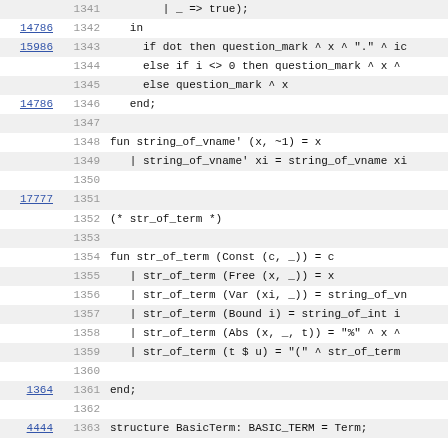[Figure (screenshot): Source code viewer showing OCaml code lines 1341-1363 with line numbers and occasional hyperlinked revision numbers in the left margin.]